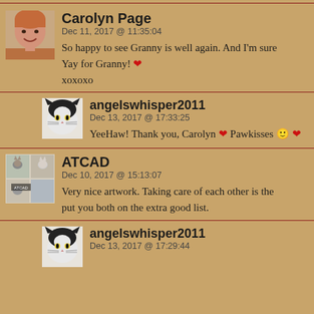[Figure (photo): Avatar photo of Carolyn Page, a woman smiling]
Carolyn Page
Dec 11, 2017 @ 11:35:04
So happy to see Granny is well again. And I'm sure Yay for Granny! ❤
xoxoxo
[Figure (photo): Avatar of angelswhisper2011, a black and white cat]
angelswhisper2011
Dec 13, 2017 @ 17:33:25
YeeHaw! Thank you, Carolyn ❤ Pawkisses 🙂 ❤
[Figure (photo): ATCAD avatar, collage of cats]
ATCAD
Dec 10, 2017 @ 15:13:07
Very nice artwork. Taking care of each other is the put you both on the extra good list.
[Figure (photo): Avatar of angelswhisper2011, a black and white cat]
angelswhisper2011
Dec 13, 2017 @ 17:29:44